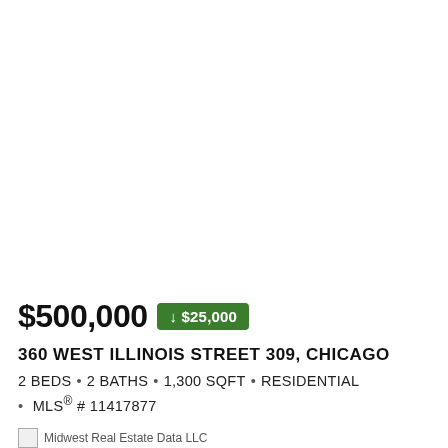[Figure (photo): Large property photo (white/blank area at top of listing)]
$500,000  ↓ $25,000
360 WEST ILLINOIS STREET 309, CHICAGO
2 BEDS • 2 BATHS • 1,300 SQFT • RESIDENTIAL • MLS® # 11417877
Midwest Real Estate Data LLC